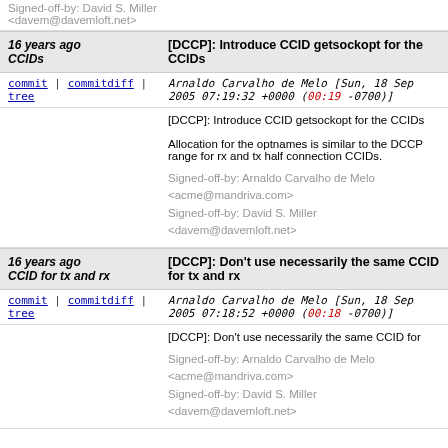Signed-off-by: David S. Miller <davem@davemloft.net>
16 years ago CCIDs | [DCCP]: Introduce CCID getsockopt for the CCIDs
commit | commitdiff | tree   Arnaldo Carvalho de Melo [Sun, 18 Sep 2005 07:19:32 +0000 (00:19 -0700)]
[DCCP]: Introduce CCID getsockopt for the CCIDs

Allocation for the optnames is similar to the DCCP range for rx and tx half connection CCIDs.

Signed-off-by: Arnaldo Carvalho de Melo <acme@mandriva.com>
Signed-off-by: David S. Miller <davem@davemloft.net>
16 years ago CCID for tx and rx | [DCCP]: Don't use necessarily the same CCID for tx and rx
commit | commitdiff | tree   Arnaldo Carvalho de Melo [Sun, 18 Sep 2005 07:18:52 +0000 (00:18 -0700)]
[DCCP]: Don't use necessarily the same CCID for

Signed-off-by: Arnaldo Carvalho de Melo <acme@mandriva.com>
Signed-off-by: David S. Miller <davem@davemloft.net>